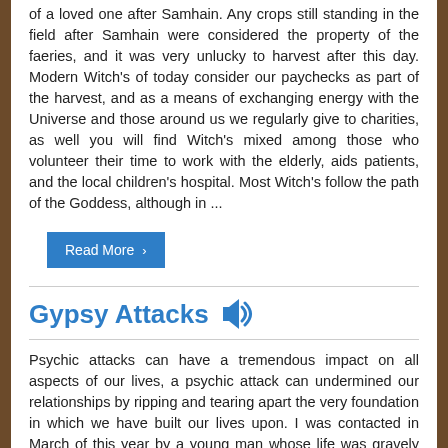of a loved one after Samhain. Any crops still standing in the field after Samhain were considered the property of the faeries, and it was very unlucky to harvest after this day. Modern Witch's of today consider our paychecks as part of the harvest, and as a means of exchanging energy with the Universe and those around us we regularly give to charities, as well you will find Witch's mixed among those who volunteer their time to work with the elderly, aids patients, and the local children's hospital. Most Witch's follow the path of the Goddess, although in ...
Read More ›
Gypsy Attacks 🔊
Psychic attacks can have a tremendous impact on all aspects of our lives, a psychic attack can undermined our relationships by ripping and tearing apart the very foundation in which we have built our lives upon. I was contacted in March of this year by a young man whose life was gravely impacted and torn apart by a vicious psychic attack.This young man's ordeal started when he